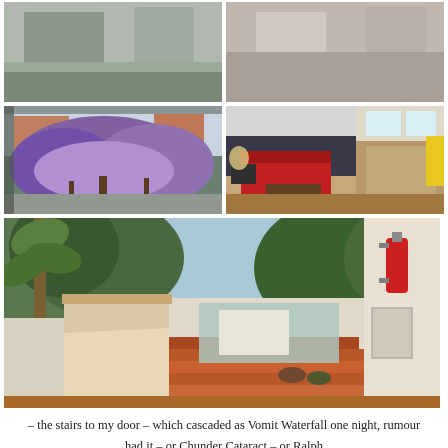[Figure (photo): Partial view of photo at top-left, cropped at top]
[Figure (photo): Partial view of photo at top-right, cropped at top]
[Figure (photo): View through window of a blooming jacaranda tree with purple flowers and suburban houses in background]
[Figure (photo): Interior living room with red sofa, TV, coffee table, and open plan kitchen/dining area visible in background]
[Figure (photo): Exterior staircase leading to a door, with lush green trees visible through an opening, reddish-brown wooden steps, and a fire extinguisher on the wall]
– the stairs to my door – which cascaded as Vomit Waterfall one night, rumour had it – or Chunder Cataract – or Ralph